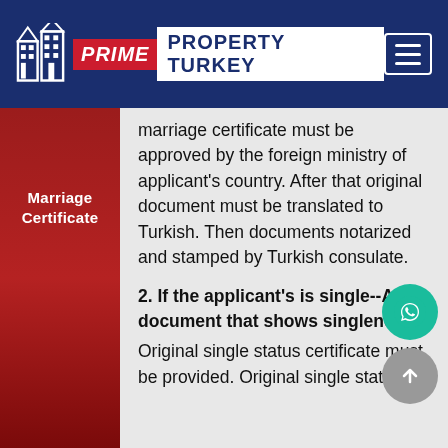PRIME PROPERTY TURKEY
Marriage Certificate
marriage certificate must be approved by the foreign ministry of applicant's country. After that original document must be translated to Turkish. Then documents notarized and stamped by Turkish consulate.
2. If the applicant's is single--Any document that shows singleness:
Original single status certificate must be provided. Original single status...